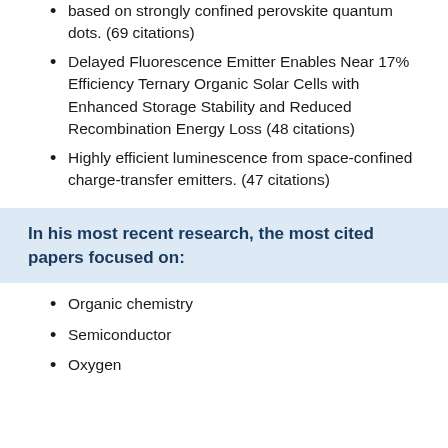based on strongly confined perovskite quantum dots. (69 citations)
Delayed Fluorescence Emitter Enables Near 17% Efficiency Ternary Organic Solar Cells with Enhanced Storage Stability and Reduced Recombination Energy Loss (48 citations)
Highly efficient luminescence from space-confined charge-transfer emitters. (47 citations)
In his most recent research, the most cited papers focused on:
Organic chemistry
Semiconductor
Oxygen